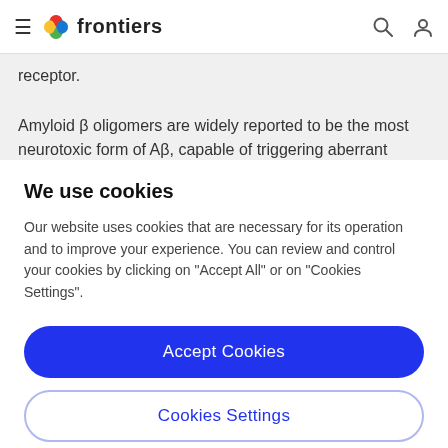frontiers
receptor. Amyloid β oligomers are widely reported to be the most neurotoxic form of Aβ, capable of triggering aberrant neuronal signaling which leads to loss of synapses and
We use cookies
Our website uses cookies that are necessary for its operation and to improve your experience. You can review and control your cookies by clicking on "Accept All" or on "Cookies Settings".
Accept Cookies
Cookies Settings